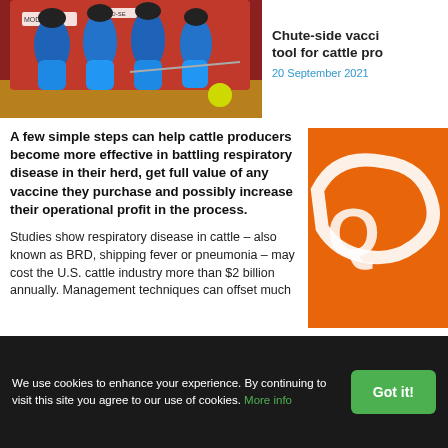[Figure (photo): Close-up photo of veterinary vaccination equipment with blue multi-dose vaccine guns labeled MOD-LIVE and BO-SE mounted on a red surface, with a yellow ball visible in background]
Chute-side vacci... tool for cattle pro...
20 September 2021
[Figure (logo): Orange square block with partial white logo visible, appears to be Oklahoma State University or similar institutional logo]
A few simple steps can help cattle producers become more effective in battling respiratory disease in their herd, get full value of any vaccine they purchase and possibly increase their operational profit in the process.
Studies show respiratory disease in cattle – also known as BRD, shipping fever or pneumonia – may cost the U.S. cattle industry more than $2 billion annually. Management techniques can offset much of this...
We use cookies to enhance your experience. By continuing to visit this site you agree to our use of cookies. More info